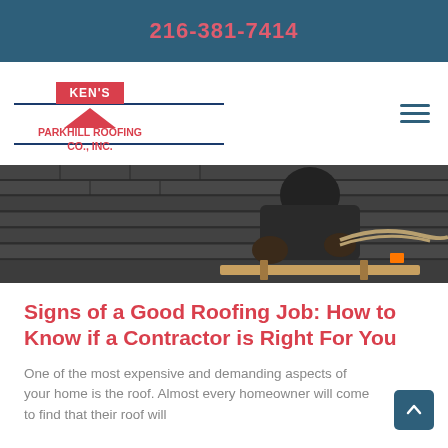216-381-7414
[Figure (logo): Ken's Parkhill Roofing Co., Inc. logo with red chevron/badge and blue horizontal lines]
[Figure (photo): Roofer working on a slate or shingle roof, holding a rope, wearing work gloves and harness]
Signs of a Good Roofing Job: How to Know if a Contractor is Right For You
One of the most expensive and demanding aspects of your home is the roof. Almost every homeowner will come to find that their roof will